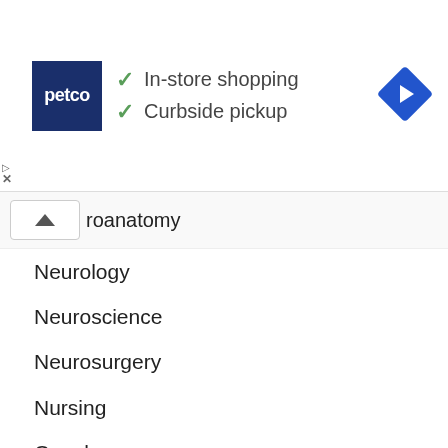[Figure (screenshot): Petco advertisement banner showing logo, 'In-store shopping' and 'Curbside pickup' with checkmarks, and a navigation arrow icon]
roanatomy
Neurology
Neuroscience
Neurosurgery
Nursing
Oncology
Oncology
Ophthalmology
Orthopaedics
Past Papers
Pathology
Pathophysiology